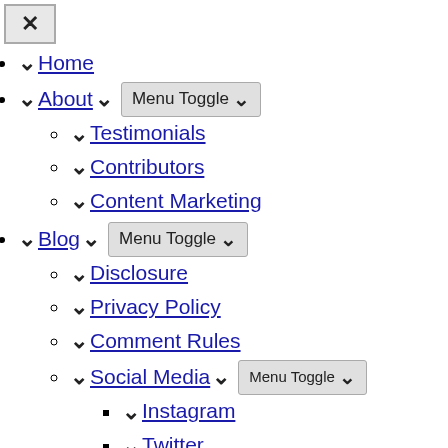✕ (close button)
Home
About | Menu Toggle
Testimonials
Contributors
Content Marketing
Blog | Menu Toggle
Disclosure
Privacy Policy
Comment Rules
Social Media | Menu Toggle
Instagram
Twitter
Facebook
Services | Menu Toggle
Content Marketing Services
Social Media Management Services
Social Media Training & Consulting Services